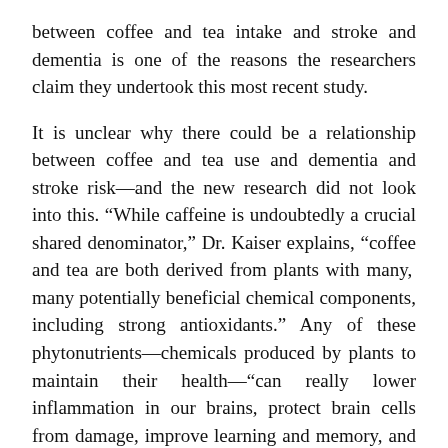between coffee and tea intake and stroke and dementia is one of the reasons the researchers claim they undertook this most recent study.
It is unclear why there could be a relationship between coffee and tea use and dementia and stroke risk—and the new research did not look into this. “While caffeine is undoubtedly a crucial shared denominator,” Dr. Kaiser explains, “coffee and tea are both derived from plants with many, many potentially beneficial chemical components, including strong antioxidants.” Any of these phytonutrients—chemicals produced by plants to maintain their health—“can really lower inflammation in our brains, protect brain cells from damage, improve learning and memory, and give other obvious advantages for brain health,” he continues.
All of this begs the question: Should the individual